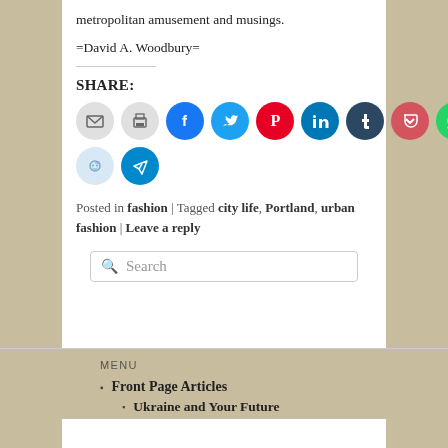metropolitan amusement and musings.
=David A. Woodbury=
SHARE:
[Figure (infographic): Social sharing icon buttons: email, print, facebook, twitter, pinterest, linkedin, tumblr, pocket, whatsapp, reddit, telegram]
Posted in fashion | Tagged city life, Portland, urban fashion | Leave a reply
Search
MENU
Front Page Articles
Ukraine and Your Future